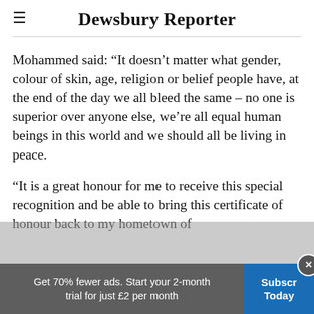Dewsbury Reporter
Mohammed said: “It doesn’t matter what gender, colour of skin, age, religion or belief people have, at the end of the day we all bleed the same – no one is superior over anyone else, we’re all equal human beings in this world and we should all be living in peace.
“It is a great honour for me to receive this special recognition and be able to bring this certificate of honour back to my hometown of
Get 70% fewer ads. Start your 2-month trial for just £2 per month
Subscribe Today